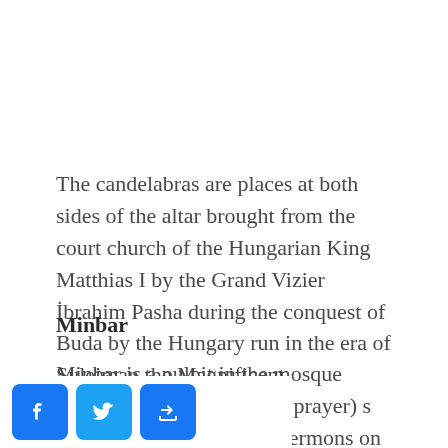The candelabras are places at both sides of the altar brought from the court church of the Hungarian King Matthias I by the Grand Vizier İbrahim Pasha during the conquest of Buda by the Hungary run in the era of Suleiman the Magnificent.
Minbar
Minbar is a pulpit in the mosque where the imam (leader of prayer) stands to deliver sermons on Fridays. Minbar is at right hand